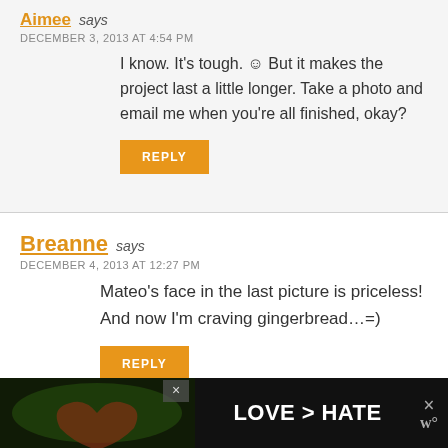Aimee says
DECEMBER 3, 2013 AT 4:54 PM
I know. It’s tough. ☺ But it makes the project last a little longer. Take a photo and email me when you’re all finished, okay?
REPLY
Breanne says
DECEMBER 4, 2013 AT 12:27 PM
Mateo’s face in the last picture is priceless! And now I’m craving gingerbread…=)
REPLY
[Figure (photo): Advertisement banner at bottom: hands forming a heart shape on green background with text LOVE > HATE on dark background, with close button and logo]